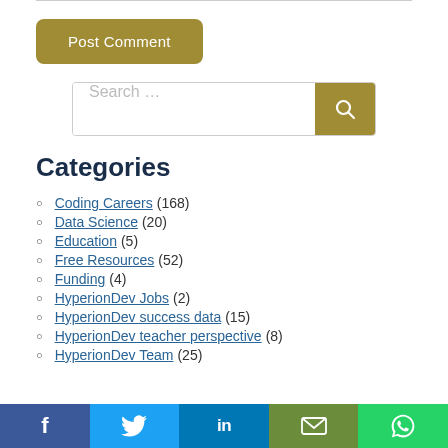Post Comment
Search …
Categories
Coding Careers (168)
Data Science (20)
Education (5)
Free Resources (52)
Funding (4)
HyperionDev Jobs (2)
HyperionDev success data (15)
HyperionDev teacher perspective (8)
HyperionDev Team (25)